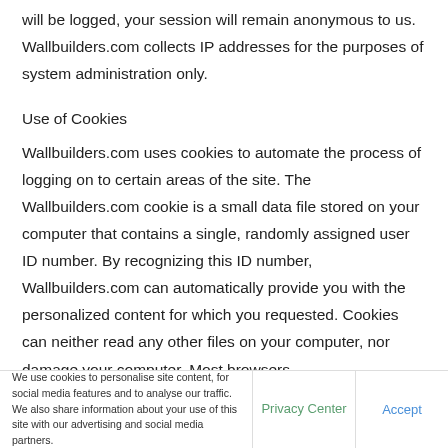will be logged, your session will remain anonymous to us. Wallbuilders.com collects IP addresses for the purposes of system administration only.
Use of Cookies
Wallbuilders.com uses cookies to automate the process of logging on to certain areas of the site. The Wallbuilders.com cookie is a small data file stored on your computer that contains a single, randomly assigned user ID number. By recognizing this ID number, Wallbuilders.com can automatically provide you with the personalized content for which you requested. Cookies can neither read any other files on your computer, nor damage your computer. Most browsers
We use cookies to personalise site content, for social media features and to analyse our traffic. We also share information about your use of this site with our advertising and social media partners.
Privacy Center
Accept